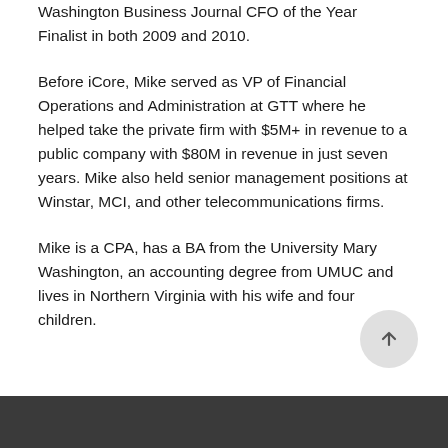Washington Business Journal CFO of the Year Finalist in both 2009 and 2010.
Before iCore, Mike served as VP of Financial Operations and Administration at GTT where he helped take the private firm with $5M+ in revenue to a public company with $80M in revenue in just seven years. Mike also held senior management positions at Winstar, MCI, and other telecommunications firms.
Mike is a CPA, has a BA from the University Mary Washington, an accounting degree from UMUC and lives in Northern Virginia with his wife and four children.
[Figure (other): Scroll-to-top button: a circular grey button with an upward arrow icon]